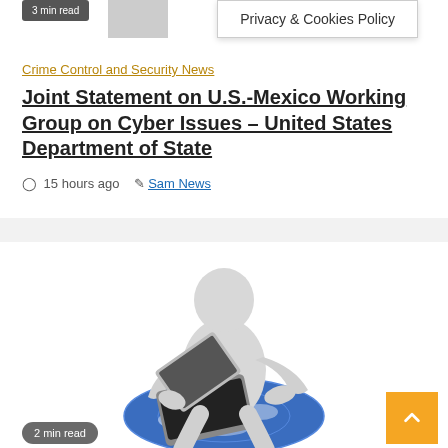Privacy & Cookies Policy
Crime Control and Security News
Joint Statement on U.S.-Mexico Working Group on Cyber Issues – United States Department of State
15 hours ago   Sam News
[Figure (illustration): 3D white humanoid figure sitting on a blue and white globe, using a laptop computer]
2 min read